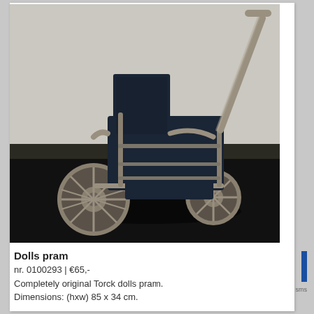[Figure (photo): Vintage Torck dolls pram / baby buggy with dark navy blue fabric seat, metal frame with beige/gold colored tubular handles and push bar, four large spoked wheels with ornate metal hubs, photographed against a light grey wall with dark floor.]
Dolls pram
nr. 0100293 | €65,-
Completely original Torck dolls pram.
Dimensions: (hxw) 85 x 34 cm.